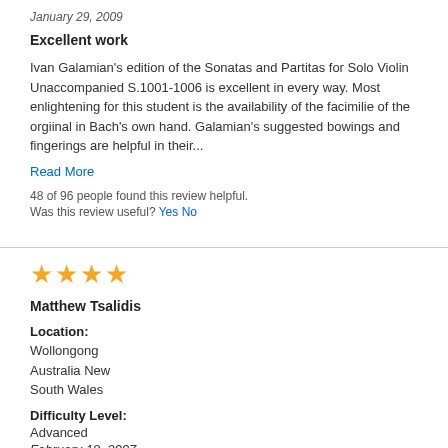January 29, 2009
Excellent work
Ivan Galamian's edition of the Sonatas and Partitas for Solo Violin Unaccompanied S.1001-1006 is excellent in every way. Most enlightening for this student is the availability of the facimilie of the orgiinal in Bach's own hand. Galamian's suggested bowings and fingerings are helpful in their...
Read More
48 of 96 people found this review helpful.
Was this review useful? Yes No
[Figure (other): Four gold star rating icons]
Matthew Tsalidis
Location:
Wollongong Australia New South Wales
Difficulty Level:
Advanced
February 18, 2007